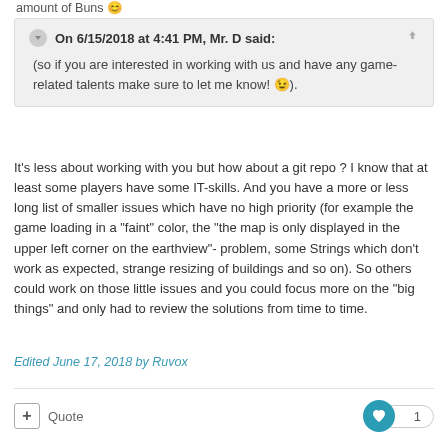amount of Buns 😊
On 6/15/2018 at 4:41 PM, Mr. D said:
(so if you are interested in working with us and have any game-related talents make sure to let me know! 😉).
It's less about working with you but how about a git repo ? I know that at least some players have some IT-skills. And you have a more or less long list of smaller issues which have no high priority (for example the game loading in a "faint" color, the "the map is only displayed in the upper left corner on the earthview"-problem, some Strings which don't work as expected, strange resizing of buildings and so on). So others could work on those little issues and you could focus more on the "big things" and only had to review the solutions from time to time.
Edited June 17, 2018 by Ruvox